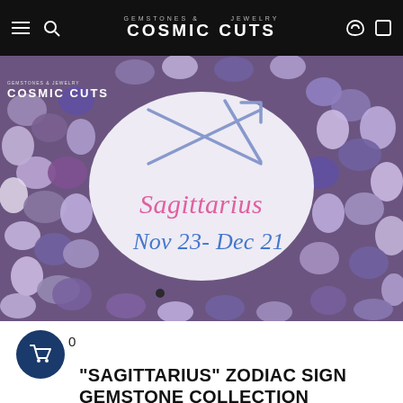GEMSTONES & JEWELRY | COSMIC CUTS
[Figure (photo): Sagittarius zodiac sign gemstone collection photo with amethyst and other purple/violet tumbled stones arranged around a white card with the Sagittarius symbol, the word Sagittarius in pink handwriting, and Nov 23 - Dec 21 in blue handwriting. Cosmic Cuts logo overlaid in top left corner.]
"SAGITTARIUS" ZODIAC SIGN GEMSTONE COLLECTION